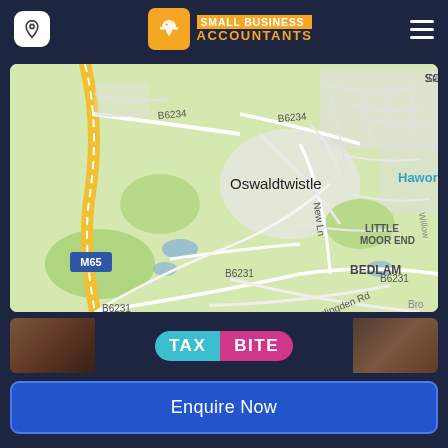[Figure (screenshot): Website header for Small Business Accountants with location pin icon on left, bird logo with orange box and text in center, hamburger menu on right, dark navy background]
[Figure (map): Google Maps screenshot showing Oswaldtwistle area in Lancashire, England. Shows roads B6234, B6231, M65 motorway, New Ln, Haslingden Rd, areas including Scaitcliffe, Little Moor End, Bedlam, Haworth (partially visible). Green and light-colored terrain with road network.]
[Figure (logo): TaxBite logo: TAX in cyan/turquoise pill, BITE in pink/magenta pill, on dark background with brown photo strips on sides]
Enquire Now